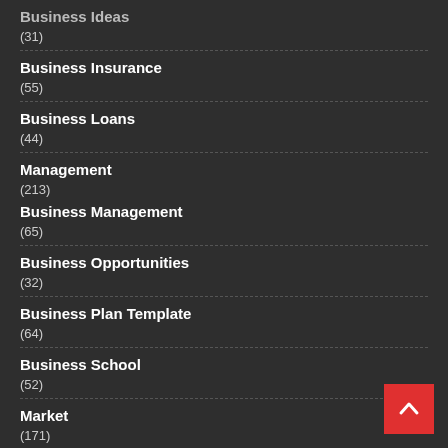Business Ideas
(31)
Business Insurance
(55)
Business Loans
(44)
Management
(213)
Business Management
(65)
Business Opportunities
(32)
Business Plan Template
(64)
Business School
(52)
Market
(171)